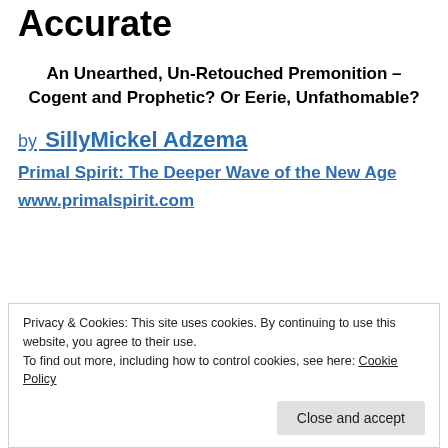Accurate
An Unearthed, Un-Retouched Premonition – Cogent and Prophetic? Or Eerie, Unfathomable?
by SillyMickel Adzema
Primal Spirit: The Deeper Wave of the New Age
www.primalspirit.com
Privacy & Cookies: This site uses cookies. By continuing to use this website, you agree to their use. To find out more, including how to control cookies, see here: Cookie Policy
Close and accept